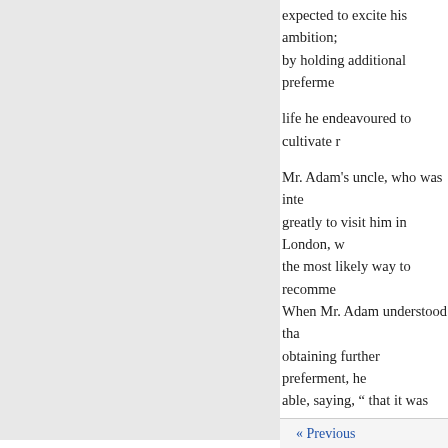expected to excite his ambition; by holding additional preferme
life he endeavoured to cultivate r
Mr. Adam's uncle, who was inte greatly to visit him in London, w the most likely way to recomme When Mr. Adam understood tha obtaining further preferment, he able, saying, “ that it was incumb
upon
him to be with his flock at Wint his preconcerted schemes for pr
When Dr. Thomas was promote proficiency in learning at the U strongly recommended him to th regard. It is probable, that from his primary visitation at Gainsbo
At that time he seems not to h he afterwards attained, and of wh we have alluded, there was a dis
« Previous